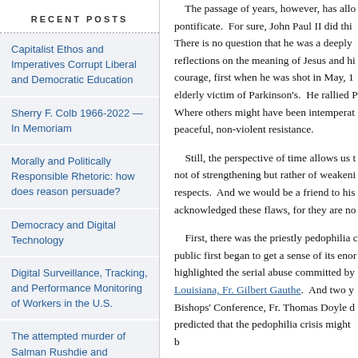RECENT POSTS
Capitalist Ethos and Imperatives Corrupt Liberal and Democratic Education
Sherry F. Colb 1966-2022 — In Memoriam
Morally and Politically Responsible Rhetoric: how does reason persuade?
Democracy and Digital Technology
Digital Surveillance, Tracking, and Performance Monitoring of Workers in the U.S.
The attempted murder of Salman Rushdie and generalizations about "Islam"
Abortion and the Judicial Role
The fascist cult of Trump v.
The passage of years, however, has allo pontificate. For sure, John Paul II did thi There is no question that he was a deeply reflections on the meaning of Jesus and hi courage, first when he was shot in May, 1 elderly victim of Parkinson's. He rallied P Where others might have been intemperat peaceful, non-violent resistance.
Still, the perspective of time allows us t not of strengthening but rather of weakeni respects. And we would be a friend to his acknowledged these flaws, for they are no
First, there was the priestly pedophilia c public first began to get a sense of its enor highlighted the serial abuse committed by Louisiana, Fr. Gilbert Gauthe. And two y Bishops' Conference, Fr. Thomas Doyle d predicted that the pedophilia crisis might b